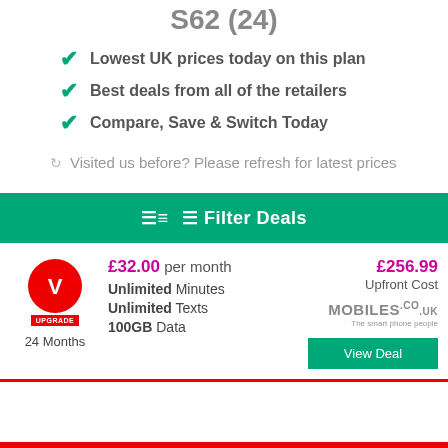S62 (24)
Lowest UK prices today on this plan
Best deals from all of the retailers
Compare, Save & Switch Today
Visited us before? Please refresh for latest prices
Filter Deals
| Provider | Plan Details | Upfront Cost |
| --- | --- | --- |
| Vodafone Upgrade / 24 Months | £32.00 per month | Unlimited Minutes | Unlimited Texts | 100GB Data | £256.99 Upfront Cost | MOBILES.CO.UK |